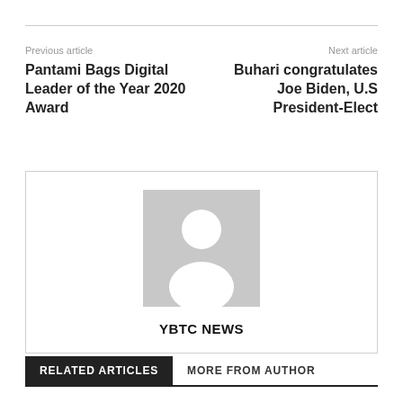Previous article
Pantami Bags Digital Leader of the Year 2020 Award
Next article
Buhari congratulates Joe Biden, U.S President-Elect
[Figure (illustration): Default author avatar placeholder — grey square with white silhouette of a person]
YBTC NEWS
RELATED ARTICLES
MORE FROM AUTHOR